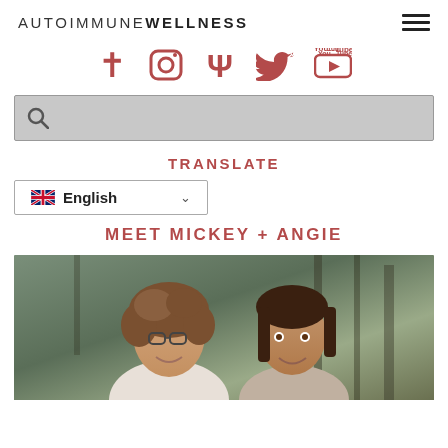AUTOIMMUNE WELLNESS
[Figure (infographic): Social media icons row: Facebook, Instagram, Pinterest, Twitter, YouTube — all in dark red/crimson color]
[Figure (screenshot): Search bar with magnifying glass icon on light gray background]
TRANSLATE
[Figure (screenshot): Language dropdown selector showing UK flag and 'English' with chevron]
MEET MICKEY + ANGIE
[Figure (photo): Two women smiling outdoors among trees — one with glasses and curly hair, one with straight dark hair]